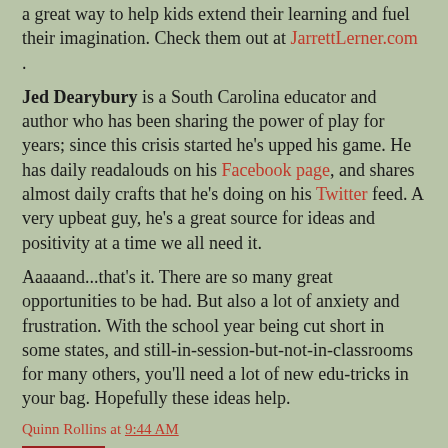a great way to help kids extend their learning and fuel their imagination. Check them out at JarrettLerner.com .
Jed Dearybury is a South Carolina educator and author who has been sharing the power of play for years; since this crisis started he's upped his game. He has daily readalouds on his Facebook page, and shares almost daily crafts that he's doing on his Twitter feed. A very upbeat guy, he's a great source for ideas and positivity at a time we all need it.
Aaaaand...that's it. There are so many great opportunities to be had. But also a lot of anxiety and frustration. With the school year being cut short in some states, and still-in-session-but-not-in-classrooms for many others, you'll need a lot of new edu-tricks in your bag. Hopefully these ideas help.
Quinn Rollins at 9:44 AM
Share
147 comments:
Teresa Halminton June 4, 2020 at 6:21 AM